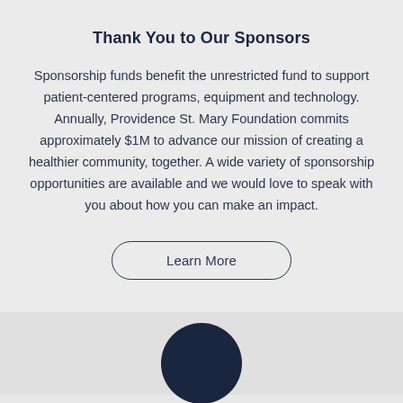Thank You to Our Sponsors
Sponsorship funds benefit the unrestricted fund to support patient-centered programs, equipment and technology. Annually, Providence St. Mary Foundation commits approximately $1M to advance our mission of creating a healthier community, together. A wide variety of sponsorship opportunities are available and we would love to speak with you about how you can make an impact.
Learn More